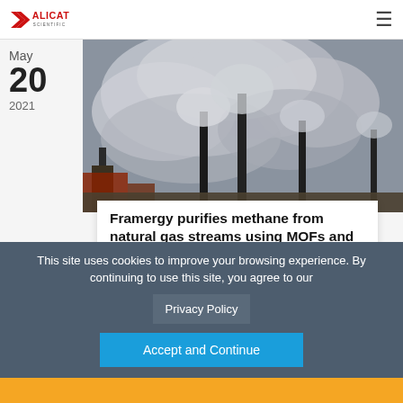ALICAT SCIENTIFIC
May
20
2021
[Figure (photo): Industrial smokestacks emitting large plumes of smoke against a cloudy sky]
Framergy purifies methane from natural gas streams using MOFs and Coriolis mass flow meters
Framergy purifies methane from natural gas streams using MOFs and Coriolis mass flow meters Metal organic frameworks (MOFs) are a
This site uses cookies to improve your browsing experience. By continuing to use this site, you agree to our Privacy Policy Accept and Continue